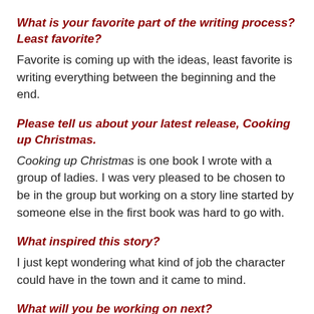What is your favorite part of the writing process? Least favorite?
Favorite is coming up with the ideas, least favorite is writing everything between the beginning and the end.
Please tell us about your latest release, Cooking up Christmas.
Cooking up Christmas is one book I wrote with a group of ladies. I was very pleased to be chosen to be in the group but working on a story line started by someone else in the first book was hard to go with.
What inspired this story?
I just kept wondering what kind of job the character could have in the town and it came to mind.
What will you be working on next?